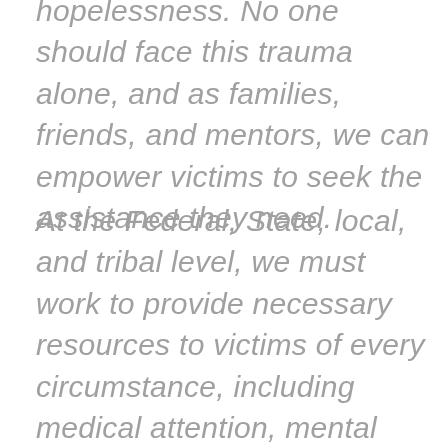hopelessness. No one should face this trauma alone, and as families, friends, and mentors, we can empower victims to seek the assistance they need.
At the Federal, State, local, and tribal level, we must work to provide necessary resources to victims of every circumstance, including medical attention, mental health services, relocation and housing assistance, and